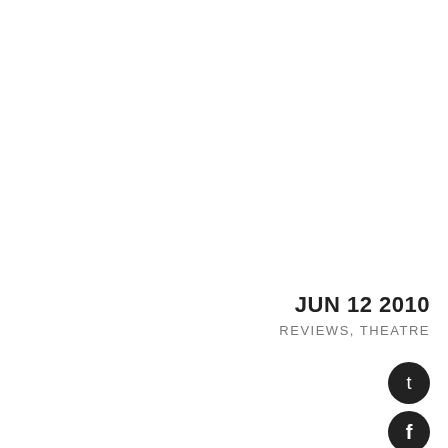Theatre, Sydney Theatre Company. Theatre Company, September 9 – Octo
Tagged   classics, ethics, Franz Kafka, h
JUN 12 2010
REVIEWS, THEATRE
[Figure (infographic): Three social media icon circles (Twitter, Facebook, Pinterest) in dark/black color]
review: the threepe…
The always-vexing question of the 'right' way to stage Brecht; to stage Brecht is almost invariab…

While Brecht's influence on modern th… Verfremdungseffekt, theorist Brecht coex… and those among us who assume that the… infallibility, and his words with biblical… not always achieve his theatrical goals, h… of the program he set for the new theatre… the use of technology, truncation of cat… dramaturgy, he has not always been th… Moreover, the effect and effectiveness o… been so thorough that few of his formal…